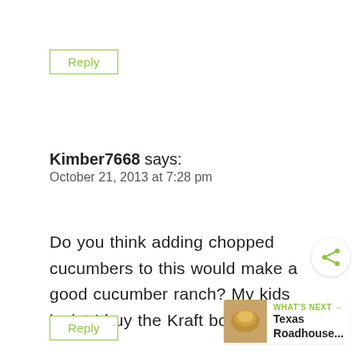Reply
Kimber7668 says:
October 21, 2013 at 7:28 pm
Do you think adding chopped cucumbers to this would make a good cucumber ranch? My kids insist I buy the Kraft bottled kind.
Reply